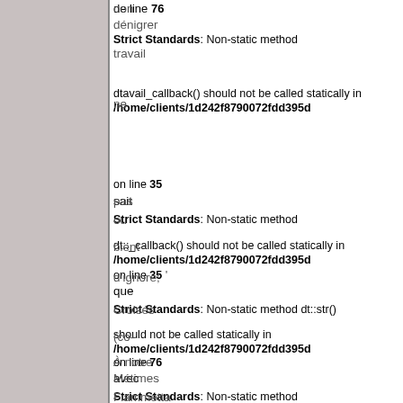de line 76
dénigrer
Strict Standards: Non-static method dtavail_callback() should not be called statically in /home/clients/1d242f8790072fdd395d
on line 35
sait
Strict Standards: Non-static method dt::_callback() should not be called statically in /home/clients/1d242f8790072fdd395d
on line 35
que
Strict Standards: Non-static method dt::str() should not be called statically in /home/clients/1d242f8790072fdd395d
on line 76
avec
Fiammetta
Strict Standards: Non-static method dt::_callback() should not be called statically in /home/clients/1d242f8790072fdd395d
on line 35
figurait
Strict Standards: Non-static method
non
travail
ne
pas
ou
bient
d'ignore;
Croisés
(co-
À notre
Métimes
rl
qu
en